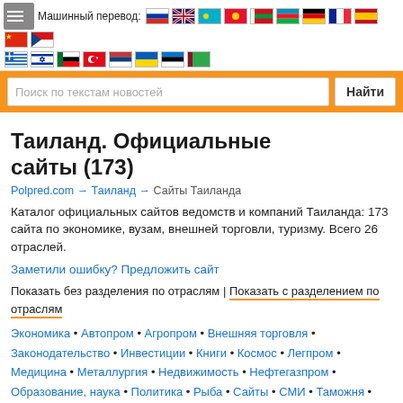Машинный перевод: [flags row]
[Figure (screenshot): Search bar with orange background, text input 'Поиск по текстам новостей' and button 'Найти']
Таиланд. Официальные сайты (173)
Polpred.com → Таиланд → Сайты Таиланда
Каталог официальных сайтов ведомств и компаний Таиланда: 173 сайта по экономике, вузам, внешней торговли, туризму. Всего 26 отраслей.
Заметили ошибку? Предложить сайт
Показать без разделения по отраслям | Показать с разделением по отраслям
Экономика • Автопром • Агропром • Внешняя торговля • Законодательство • Инвестиции • Книги • Космос • Легпром • Медицина • Металлургия • Недвижимость • Нефтегазпром • Образование, наука • Политика • Рыба • Сайты • СМИ • Таможня • Транспорт • Туризм, виза • Финансы • Хайтек • Электронные ресурсы • Энергетика • Юристы